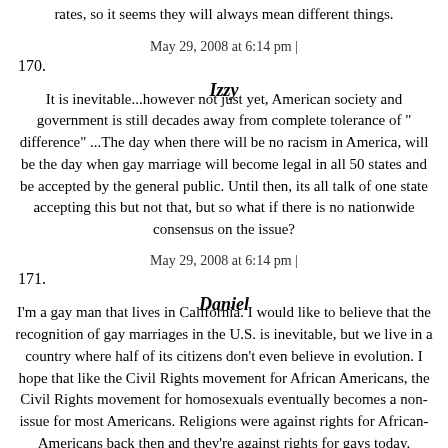rates, so it seems they will always mean different things.
May 29, 2008 at 6:14 pm |
170.
Izzy
It is inevitable...however not just yet, American society and government is still decades away from complete tolerance of " difference" ...The day when there will be no racism in America, will be the day when gay marriage will become legal in all 50 states and be accepted by the general public. Until then, its all talk of one state accepting this but not that, but so what if there is no nationwide consensus on the issue?
May 29, 2008 at 6:14 pm |
171.
Daniel
I'm a gay man that lives in California. I would like to believe that the recognition of gay marriages in the U.S. is inevitable, but we live in a country where half of its citizens don't even believe in evolution. I hope that like the Civil Rights movement for African Americans, the Civil Rights movement for homosexuals eventually becomes a non-issue for most Americans. Religions were against rights for African-Americans back then and they're against rights for gays today. Eventually I believe Americans will wake up to the reality that Congress is not always there to protect their